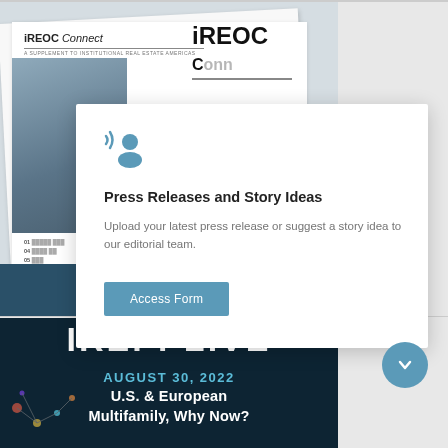[Figure (screenshot): iREOC Connect newsletter covers displayed as overlapping card thumbnails with a title 'iREOC' visible and a newsletter image]
Press Releases and Story Ideas
Upload your latest press release or suggest a story idea to our editorial team.
Access Form
[Figure (screenshot): IREI : LIVE event banner with dark background showing 'AUGUST 30, 2022 U.S. & European Multifamily, Why Now?']